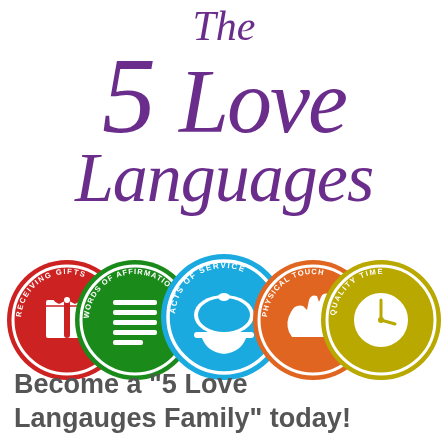The 5 Love Languages
[Figure (illustration): Five overlapping circular badges representing the 5 Love Languages: Receiving Gifts (red), Words of Affirmation (green), Acts of Service (light blue), Physical Touch (orange), Quality Time (yellow-green)]
Become a "5 Love Langauges Family" today!